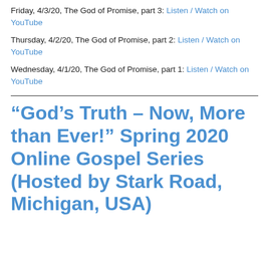Friday, 4/3/20, The God of Promise, part 3: Listen / Watch on YouTube
Thursday, 4/2/20, The God of Promise, part 2: Listen / Watch on YouTube
Wednesday, 4/1/20, The God of Promise, part 1: Listen / Watch on YouTube
“God’s Truth – Now, More than Ever!” Spring 2020 Online Gospel Series (Hosted by Stark Road, Michigan, USA)